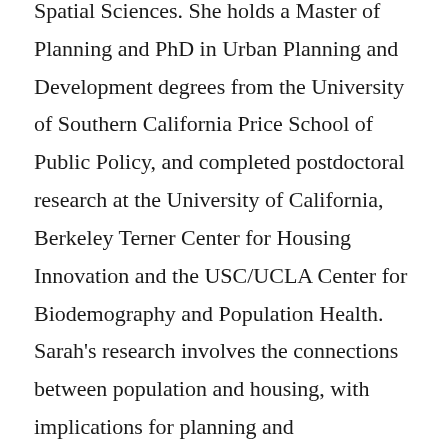Spatial Sciences. She holds a Master of Planning and PhD in Urban Planning and Development degrees from the University of Southern California Price School of Public Policy, and completed postdoctoral research at the University of California, Berkeley Terner Center for Housing Innovation and the USC/UCLA Center for Biodemography and Population Health. Sarah's research involves the connections between population and housing, with implications for planning and development. She interrogates the housing market dynamics and urban development processes that contribute to unequal housing conditions—with special attention to disparities between renters and homeowners—and the